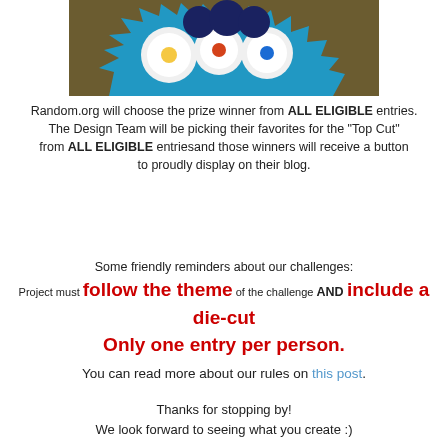[Figure (photo): Craft item - decorative die-cut piece with colorful circular patterns and blue border on a brown background]
Random.org will choose the prize winner from ALL ELIGIBLE entries. The Design Team will be picking their favorites for the "Top Cut" from ALL ELIGIBLE entriesand those winners will receive a button to proudly display on their blog.
Some friendly reminders about our challenges: Project must follow the theme of the challenge AND include a die-cut Only one entry per person.
You can read more about our rules on this post.
Thanks for stopping by! We look forward to seeing what you create :)